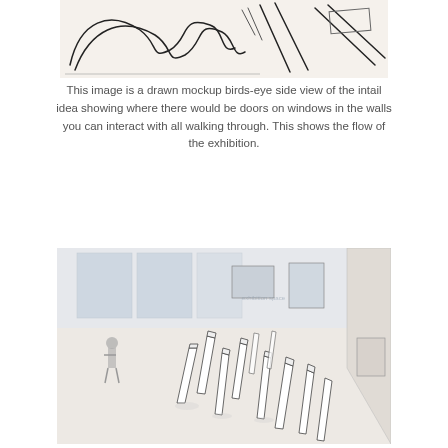[Figure (illustration): A hand-drawn birds-eye side view sketch/mockup showing architectural layout with curved and straight lines indicating walls, doors, and windows of an exhibition space.]
This image is a drawn mockup birds-eye side view of the intail idea showing where there would be doors on windows in the walls you can interact with all walking through. This shows the flow of the exhibition.
[Figure (illustration): A photographic rendering or composite image of an exhibition space viewed from above at an angle, showing tall white sculptural pillars/walls arranged on a gallery floor, with visitors visible in the background.]